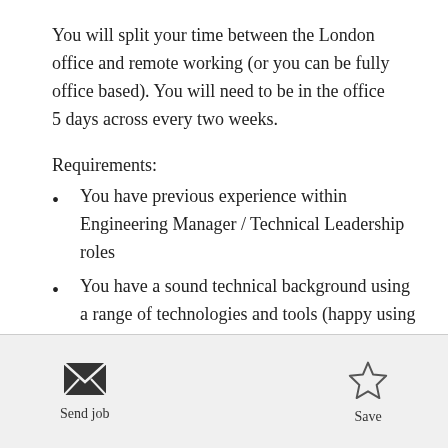You will split your time between the London office and remote working (or you can be fully office based). You will need to be in the office 5 days across every two weeks.
Requirements:
You have previous experience within Engineering Manager / Technical Leadership roles
You have a sound technical background using a range of technologies and tools (happy using Node.js going forward)
You have exceptional leadership qualities and ideally
[Figure (illustration): Envelope icon for Send job action]
Send job
[Figure (illustration): Star icon for Save action]
Save